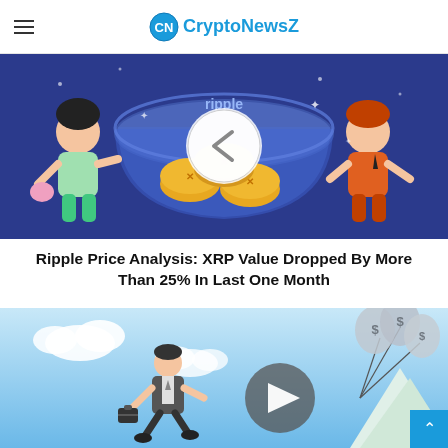CryptoNewsZ
[Figure (illustration): Animated illustration of two cartoon children with a glass bowl filled with gold Ripple (XRP) coins and a play button overlay on a blue/purple background]
Ripple Price Analysis: XRP Value Dropped By More Than 25% In Last One Month
[Figure (illustration): Animated illustration of a businessman running with a briefcase, dollar-sign balloons floating upward, and a mountain scene with a gold coin bag, on a light blue sky background with a forward arrow button overlay]